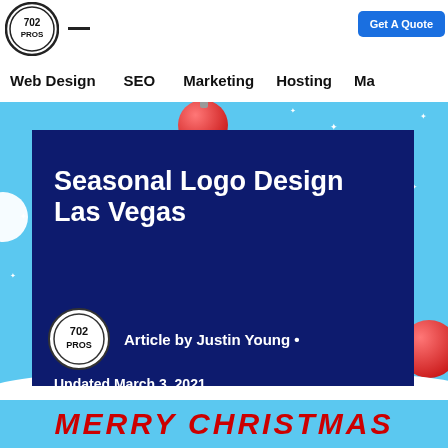702 PROS | Web Design  SEO  Marketing  Hosting  Ma...
[Figure (screenshot): Website header screenshot for 702 Pros with navigation including Web Design, SEO, Marketing, Hosting, and a Get A Quote button]
Seasonal Logo Design Las Vegas
Article by Justin Young •
Updated March 3, 2021
MERRY CHRISTMAS